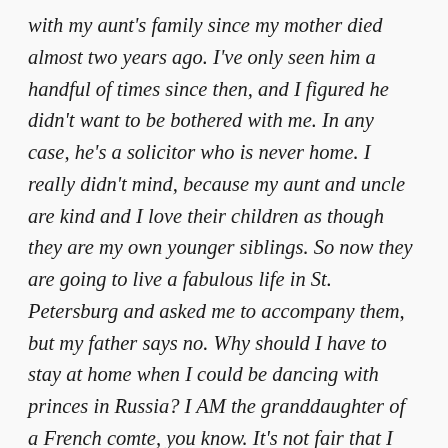with my aunt's family since my mother died almost two years ago. I've only seen him a handful of times since then, and I figured he didn't want to be bothered with me. In any case, he's a solicitor who is never home. I really didn't mind, because my aunt and uncle are kind and I love their children as though they are my own younger siblings. So now they are going to live a fabulous life in St. Petersburg and asked me to accompany them, but my father says no. Why should I have to stay at home when I could be dancing with princes in Russia? I AM the granddaughter of a French comte, you know. It's not fair that I have to die of boredom in St. Albans just because my father is so